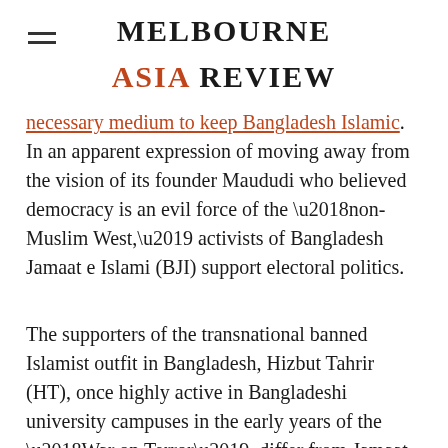Melbourne Asia Review
necessary medium to keep Bangladesh Islamic. In an apparent expression of moving away from the vision of its founder Maududi who believed democracy is an evil force of the ‘non-Muslim West,’ activists of Bangladesh Jamaat e Islami (BJI) support electoral politics.
The supporters of the transnational banned Islamist outfit in Bangladesh, Hizbut Tahrir (HT), once highly active in Bangladeshi university campuses in the early years of the ‘War on Terror’, differ from Jamaat and